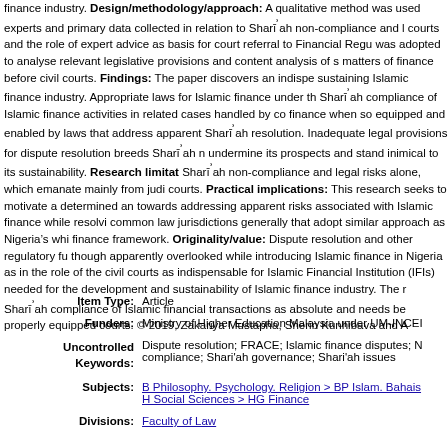finance industry. Design/methodology/approach: A qualitative method was used experts and primary data collected in relation to Sharī'ah non-compliance and l courts and the role of expert advice as basis for court referral to Financial Regu was adopted to analyse relevant legislative provisions and content analysis of s matters of finance before civil courts. Findings: The paper discovers an indispe sustaining Islamic finance industry. Appropriate laws for Islamic finance under th Sharī'ah compliance of Islamic finance activities in related cases handled by co finance when so equipped and enabled by laws that address apparent Sharī'ah resolution. Inadequate legal provisions for dispute resolution breeds Sharī'ah n undermine its prospects and stand inimical to its sustainability. Research limitat Sharī'ah non-compliance and legal risks alone, which emanate mainly from judi courts. Practical implications: This research seeks to motivate a determined an towards addressing apparent risks associated with Islamic finance while resolvi common law jurisdictions generally that adopt similar approach as Nigeria's whi finance framework. Originality/value: Dispute resolution and other regulatory fu though apparently overlooked while introducing Islamic finance in Nigeria as in the role of the civil courts as indispensable for Islamic Financial Institution (IFIs) needed for the development and sustainability of Islamic finance industry. The r Sharī'ah compliance of Islamic financial transactions as absolute and needs be properly equipped courts. © 2019, Zakariya Mustapha, Sherin Kunhibava and A
| Label | Value |
| --- | --- |
| Item Type: | Article |
| Funders: | Ministry of Higher Education Malaysia under UM-INCEI |
| Uncontrolled Keywords: | Dispute resolution; FRACE; Islamic finance disputes; N compliance; Shari'ah governance; Shari'ah issues |
| Subjects: | B Philosophy. Psychology. Religion > BP Islam. Bahais
H Social Sciences > HG Finance |
| Divisions: | Faculty of Law |